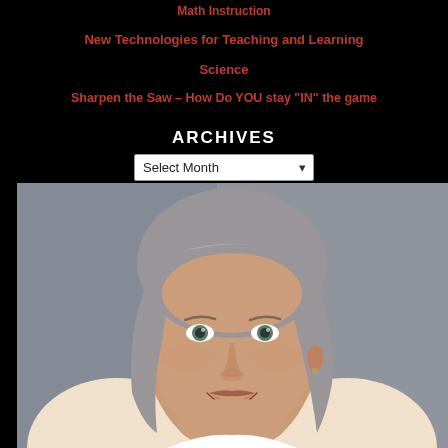Math Instruction
New Technologies for Teaching and Learning
Science
Sharpen the Saw – How Do YOU stay "IN" the game
ARCHIVES
Select Month (dropdown)
[Figure (photo): Headshot portrait of a smiling middle-aged woman with shoulder-length gray hair, wearing a white top, against a gray background]